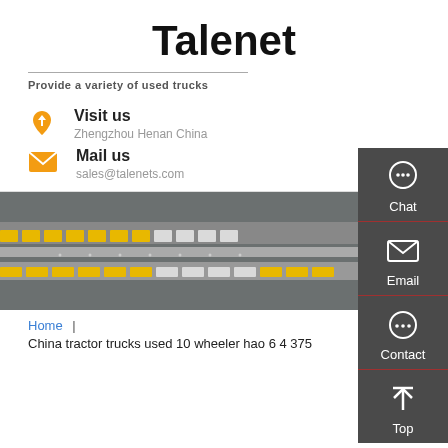Talenet
Provide a variety of used trucks
Visit us
Zhengzhou Henan China
Mail us
sales@talenets.com
[Figure (photo): Aerial view of a truck depot with yellow trucks parked in rows]
Home | China tractor trucks used 10 wheeler hao 6 4 375
[Figure (infographic): Sidebar with Chat, Email, Contact, and Top navigation buttons on dark gray background]